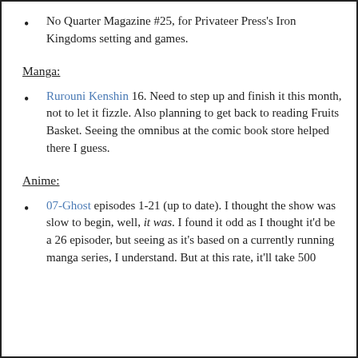No Quarter Magazine #25, for Privateer Press's Iron Kingdoms setting and games.
Manga:
Rurouni Kenshin 16. Need to step up and finish it this month, not to let it fizzle. Also planning to get back to reading Fruits Basket. Seeing the omnibus at the comic book store helped there I guess.
Anime:
07-Ghost episodes 1-21 (up to date). I thought the show was slow to begin, well, it was. I found it odd as I thought it'd be a 26 episoder, but seeing as it's based on a currently running manga series, I understand. But at this rate, it'll take 500